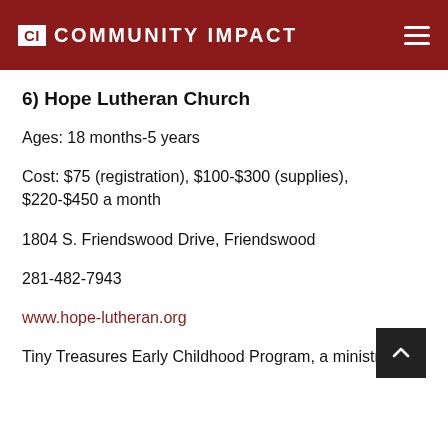CI COMMUNITY IMPACT
6) Hope Lutheran Church
Ages: 18 months-5 years
Cost: $75 (registration), $100-$300 (supplies), $220-$450 a month
1804 S. Friendswood Drive, Friendswood
281-482-7943
www.hope-lutheran.org
Tiny Treasures Early Childhood Program, a ministry of